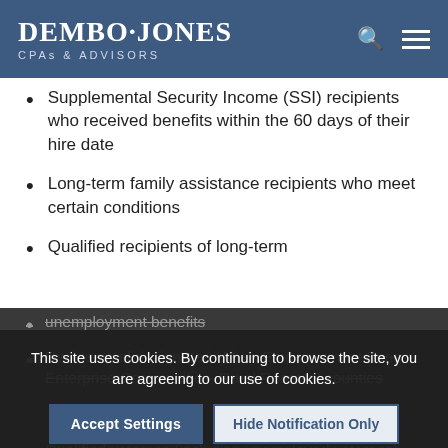DEMBO·JONES CPAs & ADVISORS
Supplemental Security Income (SSI) recipients who received benefits within the 60 days of their hire date
Long-term family assistance recipients who meet certain conditions
Qualified recipients of long-term unemployment benefits
Residents of designated Urban Empowerment Zones, Enterprise Communities, Rural Renewal counties
Qualified veterans (including unemployed veterans) who meet certain income and unemployment requirements
Ex-felons who are hired within a year of their...
This site uses cookies. By continuing to browse the site, you are agreeing to our use of cookies.